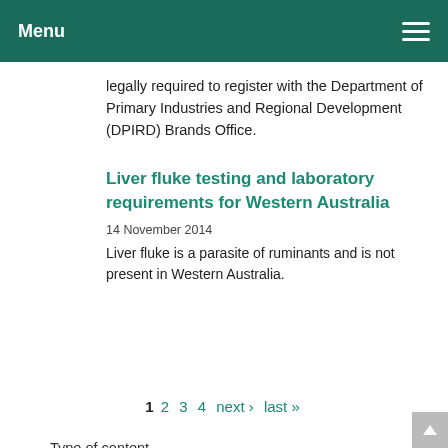Menu
legally required to register with the Department of Primary Industries and Regional Development (DPIRD) Brands Office.
Liver fluke testing and laboratory requirements for Western Australia
14 November 2014
Liver fluke is a parasite of ruminants and is not present in Western Australia.
1 2 3 4 next › last »
Type of content
Page (32)